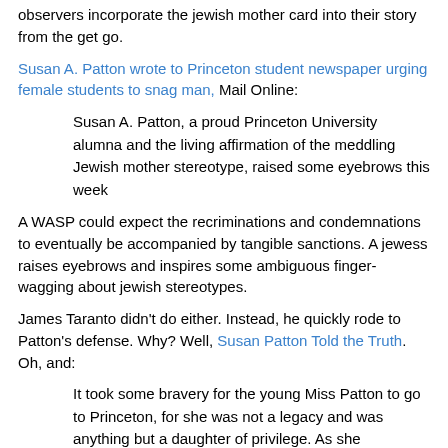observers incorporate the jewish mother card into their story from the get go.
Susan A. Patton wrote to Princeton student newspaper urging female students to snag man, Mail Online:
Susan A. Patton, a proud Princeton University alumna and the living affirmation of the meddling Jewish mother stereotype, raised some eyebrows this week
A WASP could expect the recriminations and condemnations to eventually be accompanied by tangible sanctions. A jewess raises eyebrows and inspires some ambiguous finger-wagging about jewish stereotypes.
James Taranto didn't do either. Instead, he quickly rode to Patton's defense. Why? Well, Susan Patton Told the Truth. Oh, and:
It took some bravery for the young Miss Patton to go to Princeton, for she was not a legacy and was anything but a daughter of privilege. As she